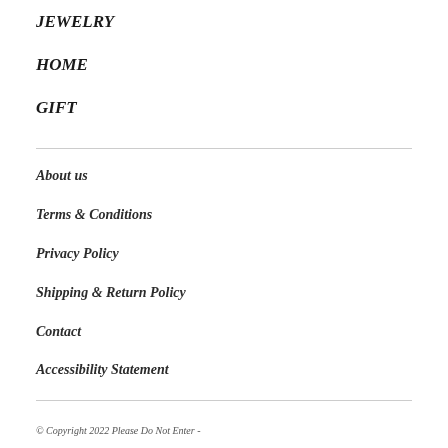JEWELRY
HOME
GIFT
About us
Terms & Conditions
Privacy Policy
Shipping & Return Policy
Contact
Accessibility Statement
© Copyright 2022 Please Do Not Enter - Powered by Lightspeed - Theme by